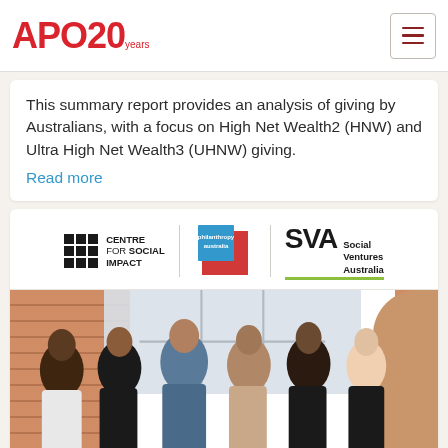APO 20 years
This summary report provides an analysis of giving by Australians, with a focus on High Net Wealth2 (HNW) and Ultra High Net Wealth3 (UHNW) giving.
Read more
[Figure (logo): Logos for Centre for Social Impact, Philanthropy Australia, and SVA Social Ventures Australia]
[Figure (photo): Group of six diverse people smiling together in an indoor setting with brick wall and large windows in background]